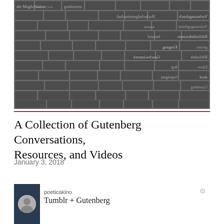[Figure (photo): Close-up black and white photograph of rows of metal letterpress type blocks (movable type), showing reversed/mirrored text characters in various sizes.]
A Collection of Gutenberg Conversations, Resources, and Videos
January 3, 2018
[Figure (screenshot): Embedded Tumblr post preview with dark background showing avatar of a person, username 'poeticakino', and post title 'Tumblr + Gutenberg']